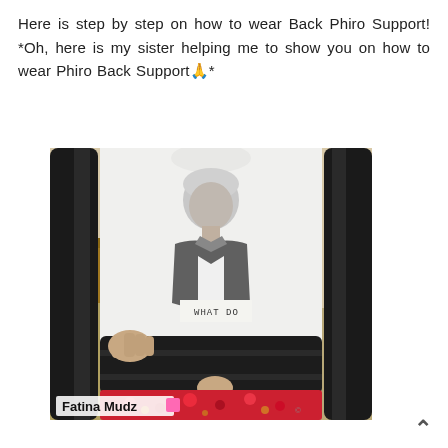Here is step by step on how to wear Back Phiro Support! *Oh, here is my sister helping me to show you on how to wear Phiro Back Support🙏*
[Figure (photo): Photo of a person wearing a white t-shirt with a celebrity graphic print (text reading 'WHAT DO') and a black back support brace/posture corrector with straps going over shoulders. The person is also wearing red floral shorts. The photo has a watermark 'Fatina Mudz' in the lower left corner.]